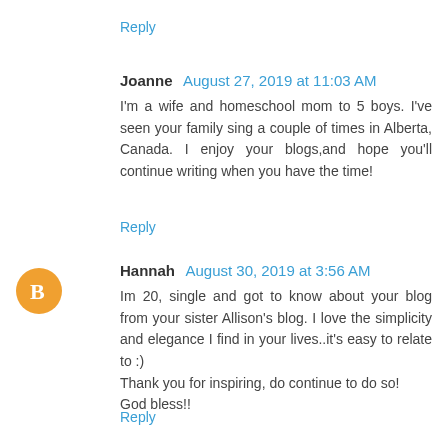Reply
Joanne  August 27, 2019 at 11:03 AM
I'm a wife and homeschool mom to 5 boys. I've seen your family sing a couple of times in Alberta, Canada. I enjoy your blogs,and hope you'll continue writing when you have the time!
Reply
Hannah  August 30, 2019 at 3:56 AM
Im 20, single and got to know about your blog from your sister Allison's blog. I love the simplicity and elegance I find in your lives..it's easy to relate to :)
Thank you for inspiring, do continue to do so!
God bless!!
Reply